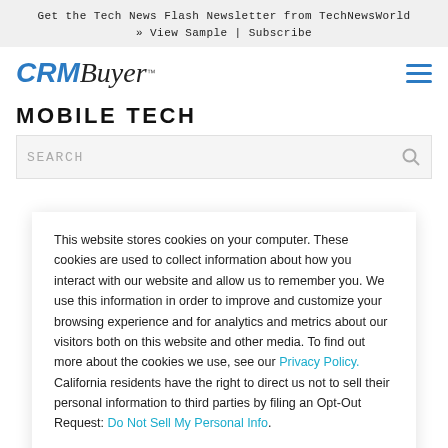Get the Tech News Flash Newsletter from TechNewsWorld
» View Sample | Subscribe
[Figure (logo): CRMBuyer logo with hamburger menu icon on the right]
MOBILE TECH
SEARCH
This website stores cookies on your computer. These cookies are used to collect information about how you interact with our website and allow us to remember you. We use this information in order to improve and customize your browsing experience and for analytics and metrics about our visitors both on this website and other media. To find out more about the cookies we use, see our Privacy Policy. California residents have the right to direct us not to sell their personal information to third parties by filing an Opt-Out Request: Do Not Sell My Personal Info.
Accept